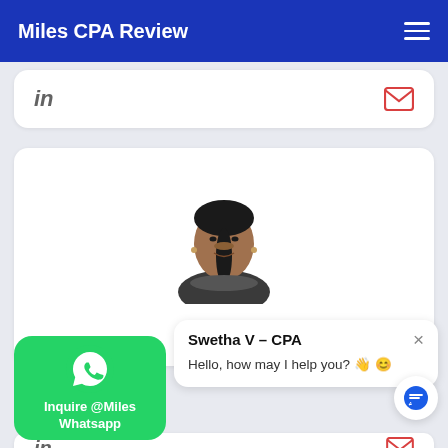Miles CPA Review
[Figure (screenshot): LinkedIn icon (in) on left, red envelope mail icon on right, in a white rounded card]
[Figure (photo): Profile photo of a woman (Swetha V - CPA) with dark hair pulled back, wearing a dark patterned top, headshot style]
[Figure (screenshot): Green WhatsApp button with phone icon labeled 'Inquire @Miles Whatsapp']
Swetha V – CPA
Hello, how may I help you? 👋 😊
[Figure (screenshot): Blue chat/message icon button (circular white background)]
[Figure (screenshot): LinkedIn icon (in) on left, red envelope mail icon on right, in a white rounded card (bottom)]